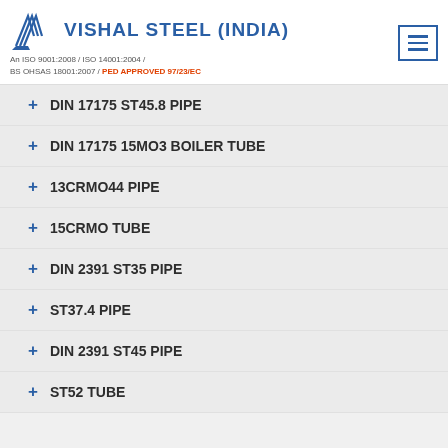[Figure (logo): Vishal Steel (India) company logo with swoosh lines and ISO certifications: An ISO 9001:2008 / ISO 14001:2004 / BS OHSAS 18001:2007 / PED APPROVED 97/23/EC]
DIN 17175 ST45.8 PIPE
DIN 17175 15MO3 BOILER TUBE
13CRMO44 PIPE
15CRMO TUBE
DIN 2391 ST35 PIPE
ST37.4 PIPE
DIN 2391 ST45 PIPE
ST52 TUBE